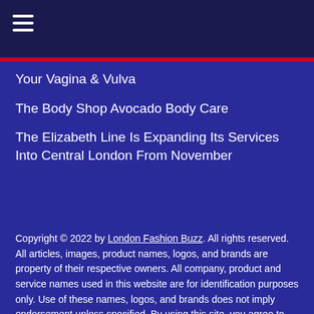≡ (hamburger menu icon)
Your Vagina & Vulva
The Body Shop Avocado Body Care
The Elizabeth Line Is Expanding Its Services Into Central London From November
Copyright © 2022 by London Fashion Buzz. All rights reserved. All articles, images, product names, logos, and brands are property of their respective owners. All company, product and service names used in this website are for identification purposes only. Use of these names, logos, and brands does not imply endorsement unless specified. By using this site, you agree to the Terms of Use and Privacy Policy.